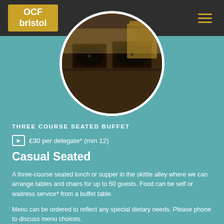[Figure (logo): OCF Bristol logo in gold/yellow rectangle on dark navigation bar]
[Figure (photo): Circular cropped photo of food buffet trays / chafing dishes in a kitchen or serving setting]
THREE COURSE SEATED BUFFET
£30 per delegate* (min 12)
Casual Seated
A three-course seated lunch or supper in the skittle alley where we can arrange tables and chairs for up to 50 guests. Food can be self or waitress service* from a buffet table.
Menu can be ordered to reflect any special dietary needs. Please phone to discuss menu choices.
Choice of two plated starters